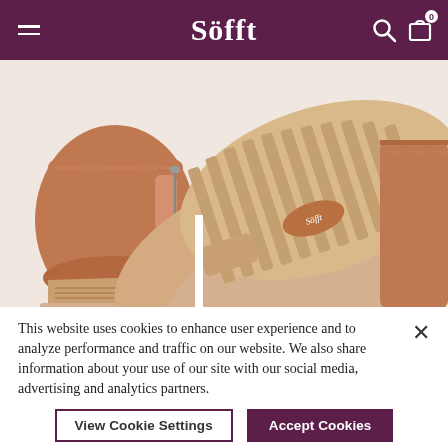Söfft
[Figure (photo): Product photo of tan/brown suede wedge ankle boots shown from multiple angles: left boot side view with wedge heel, center boot showing bottom sole with ribbed tread pattern and Söfft logo, right partial view of boot upper. All boots are warm tan/caramel colored suede with a chunky wedge heel.]
This website uses cookies to enhance user experience and to analyze performance and traffic on our website. We also share information about your use of our site with our social media, advertising and analytics partners.
View Cookie Settings
Accept Cookies